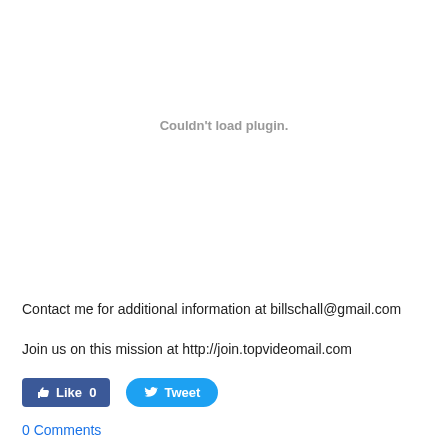Couldn't load plugin.
Contact me for additional information at billschall@gmail.com
Join us on this mission at http://join.topvideomail.com
[Figure (other): Social sharing buttons: Facebook Like (0) and Twitter Tweet]
0 Comments